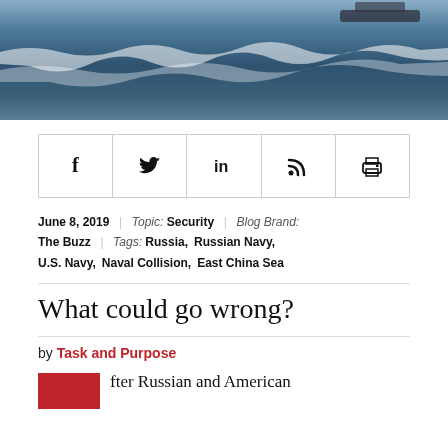[Figure (photo): Ocean waves photograph, dark blue-grey water with white wave crests, viewed from above or at low angle.]
[Figure (infographic): Social sharing toolbar with icons: Facebook (f), Twitter (bird), LinkedIn (in), RSS feed, and Print icons, arranged in a horizontal row with bordered cells.]
June 8, 2019  |  Topic: Security  |  Blog Brand: The Buzz  |  Tags: Russia,  Russian Navy,  U.S. Navy,  Naval Collision,  East China Sea
What could go wrong?
by Task and Purpose
fter Russian and American